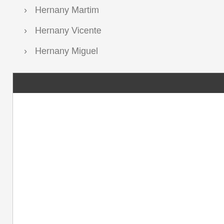Hernany Martim
Hernany Vicente
Hernany Miguel
[Figure (screenshot): A modal dialog overlay with a dark header bar containing 'FECHAR (X)' in red bold text, and a white empty body area. A scroll-to-top button (pink square with up arrow) is visible in the bottom right.]